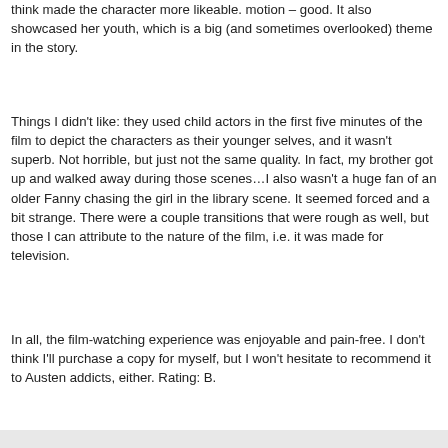think made the character more likeable. motion – good. It also showcased her youth, which is a big (and sometimes overlooked) theme in the story.
Things I didn't like: they used child actors in the first five minutes of the film to depict the characters as their younger selves, and it wasn't superb. Not horrible, but just not the same quality. In fact, my brother got up and walked away during those scenes…I also wasn't a huge fan of an older Fanny chasing the girl in the library scene. It seemed forced and a bit strange. There were a couple transitions that were rough as well, but those I can attribute to the nature of the film, i.e. it was made for television.
In all, the film-watching experience was enjoyable and pain-free. I don't think I'll purchase a copy for myself, but I won't hesitate to recommend it to Austen addicts, either. Rating: B.